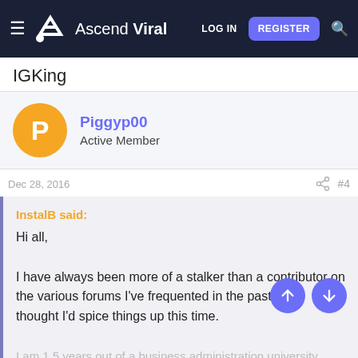Ascend Viral — LOG IN | REGISTER
IGKing
Piggyp00
Active Member
Dec 28, 2016  #4
InstalB said:

Hi all,

I have always been more of a stalker than a contributor on various forums I've frequented in the past, so I thought I'd spice things up this time.

I am 1.5 years out of a business administration university program

Click to expand...